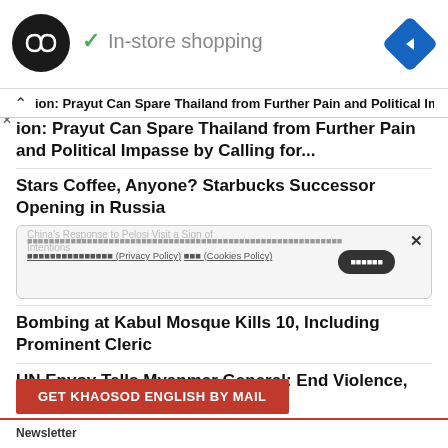[Figure (screenshot): Advertisement banner with circular dark logo with infinity arrows icon, checkmark, 'In-store shopping' text, and blue diamond navigation icon]
ion: Prayut Can Spare Thailand from Further Pain and Political Impasse by Calling for...
Stars Coffee, Anyone? Starbucks Successor Opening in Russia
[Figure (screenshot): Cookie consent banner with Thai text, Privacy Policy and Cookies Policy links, confirm button, and X close button, overlapping with headline about China's Response to Pelosi Visit]
Bombing at Kabul Mosque Kills 10, Including Prominent Cleric
UN Envoy Tells Myanmar General: End Violence, Seek Democracy
GET KHAOSOD ENGLISH BY MAIL
Newsletter